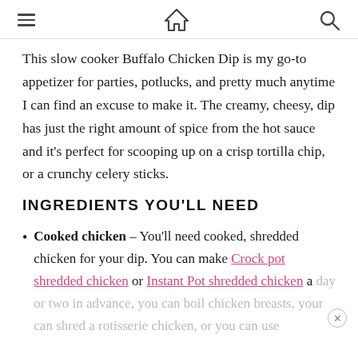≡  🏠  🔍
This slow cooker Buffalo Chicken Dip is my go-to appetizer for parties, potlucks, and pretty much anytime I can find an excuse to make it. The creamy, cheesy, dip has just the right amount of spice from the hot sauce and it's perfect for scooping up on a crisp tortilla chip, or a crunchy celery sticks.
INGREDIENTS YOU'LL NEED
Cooked chicken – You'll need cooked, shredded chicken for your dip. You can make Crock pot shredded chicken or Instant Pot shredded chicken a day or two in advance, you can boil chicken breasts, your can shred a rotisserie chicken, or you can use